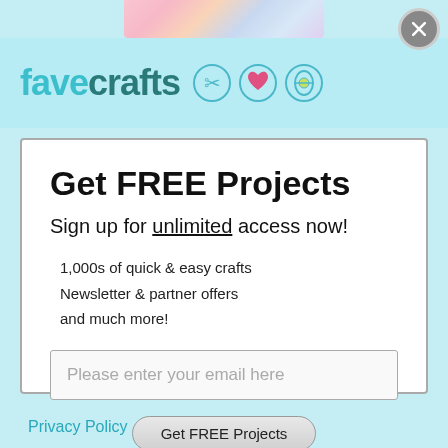[Figure (photo): Partial view of a colorful knitted or crafted item at the top of the page]
[Figure (logo): FaveCrafts logo with teal text 'fave' and dark teal 'crafts', accompanied by three circular icons: scissors, heart, and thread spool]
Get FREE Projects
Sign up for unlimited access now!
1,000s of quick & easy crafts
Newsletter & partner offers
and much more!
Please enter your email here
Get FREE Projects
Privacy Policy